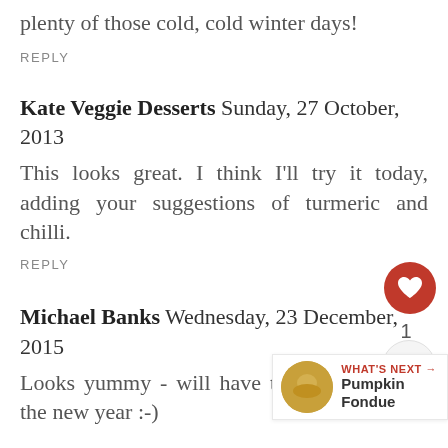plenty of those cold, cold winter days!
REPLY
Kate Veggie Desserts Sunday, 27 October, 2013
This looks great. I think I'll try it today, adding your suggestions of turmeric and chilli.
REPLY
Michael Banks Wednesday, 23 December, 2015
Looks yummy - will have to try this one in the new year :-)
WHAT'S NEXT → Pumpkin Fondue